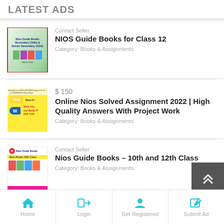LATEST ADS
[Figure (photo): Book cover thumbnail for NIOS Guide Books Secondary and Senior Secondary]
Contact Seller
NIOS Guide Books for Class 12
Category: Books & Assignments
[Figure (photo): Thumbnail for Online Nios Solved Assignment 2022 with TMA label and colorful promotional text]
$ 150
Online Nios Solved Assignment 2022 | High Quality Answers With Project Work
Category: Books & Assignments
[Figure (photo): Thumbnail for Nios Guide Books 10th and 12th Class with yellow banner and colorful book covers]
Contact Seller
Nios Guide Books – 10th and 12th Class
Category: Books & Assignments
Home  Login  Get Registered  Submit Ad